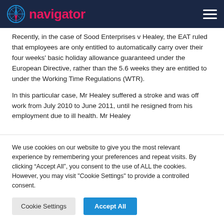navigator
Recently, in the case of Sood Enterprises v Healey, the EAT ruled that employees are only entitled to automatically carry over their four weeks' basic holiday allowance guaranteed under the European Directive, rather than the 5.6 weeks they are entitled to under the Working Time Regulations (WTR).
In this particular case, Mr Healey suffered a stroke and was off work from July 2010 to June 2011, until he resigned from his employment due to ill health. Mr Healey
We use cookies on our website to give you the most relevant experience by remembering your preferences and repeat visits. By clicking “Accept All”, you consent to the use of ALL the cookies. However, you may visit "Cookie Settings" to provide a controlled consent.